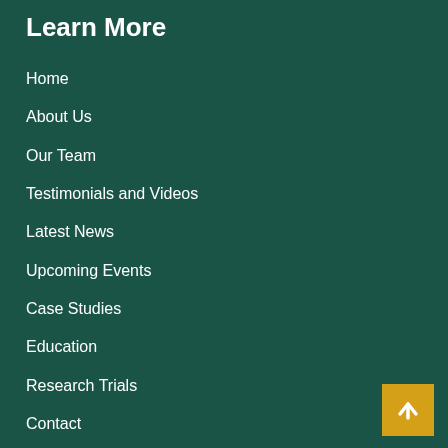Learn More
Home
About Us
Our Team
Testimonials and Videos
Latest News
Upcoming Events
Case Studies
Education
Research Trials
Contact
[Figure (illustration): Back to top button — golden/yellow square with white upward arrow]